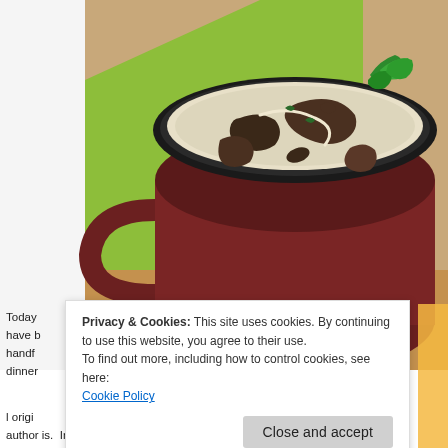[Figure (photo): A dark ceramic mug filled with creamy mushroom soup, garnished with fresh parsley leaves and visible mushroom slices. The mug sits on a bright green cloth or mat on a wooden surface. The soup is pale cream colored with dark mushroom pieces visible. Photo is taken from above-front angle.]
Today it was have l t, it's i handf a – yo dinner
l origi rce, an author is. In any case, I felt I should at least link back to the recipe, and g
Privacy & Cookies: This site uses cookies. By continuing to use this website, you agree to their use.
To find out more, including how to control cookies, see here:
Cookie Policy
Close and accept